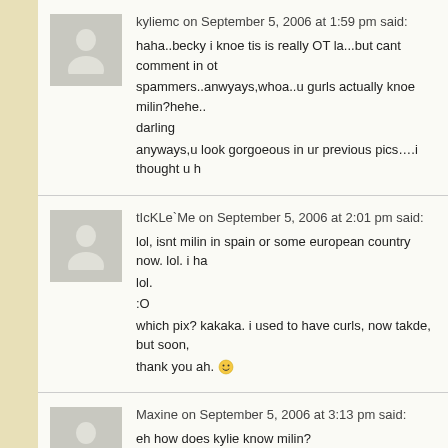kyliemc on September 5, 2006 at 1:59 pm said: haha..becky i knoe tis is really OT la...but cant comment in ot spammers..anwyays,whoa..u gurls actually knoe milin?hehe.. darling anyways,u look gorgoeous in ur previous pics....i thought u h
tIcKLe`Me on September 5, 2006 at 2:01 pm said: lol, isnt milin in spain or some european country now. lol. i ha lol. :O which pix? kakaka. i used to have curls, now takde, but soon, thank you ah. :)
Maxine on September 5, 2006 at 3:13 pm said: eh how does kylie know milin?
tIcKLe`Me on September 5, 2006 at 3:21 pm said: